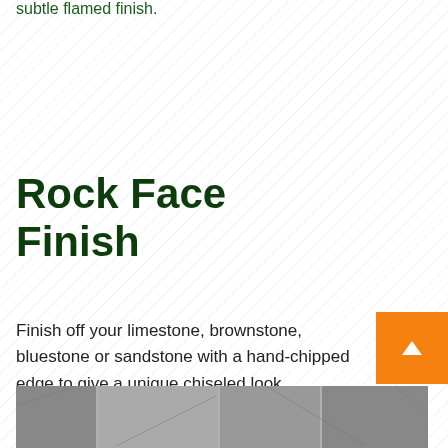subtle flamed finish.
Rock Face Finish
Finish off your limestone, brownstone, bluestone or sandstone with a hand-chipped edge to give a unique chiseled look.
[Figure (photo): Partial view of a stone surface with chiseled/rock face finish texture, shown in grayscale at the bottom of the page]